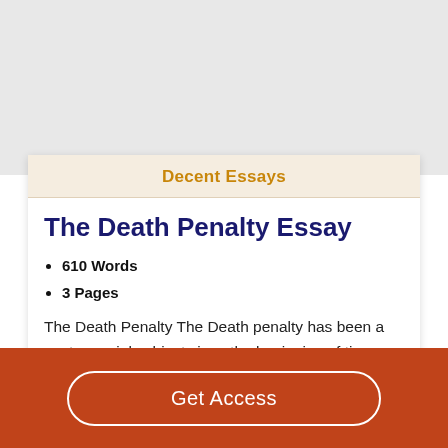Decent Essays
The Death Penalty Essay
610 Words
3 Pages
The Death Penalty The Death penalty has been a controversial subject since the beginning of time. People are concerned about the morality of the death penalty thus
Get Access